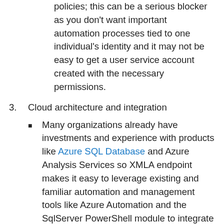policies; this can be a serious blocker as you don't want important automation processes tied to one individual's identity and it may not be easy to get a user service account created with the necessary permissions.
3. Cloud architecture and integration
Many organizations already have investments and experience with products like Azure SQL Database and Azure Analysis Services so XMLA endpoint makes it easy to leverage existing and familiar automation and management tools like Azure Automation and the SqlServer PowerShell module to integrate XMLA-based automation.
Given the previously mentioned limitations with the Power BI API, PBI dataset automation processes like refresh requests may have been isolated from data source processes and/or deployed to Azure